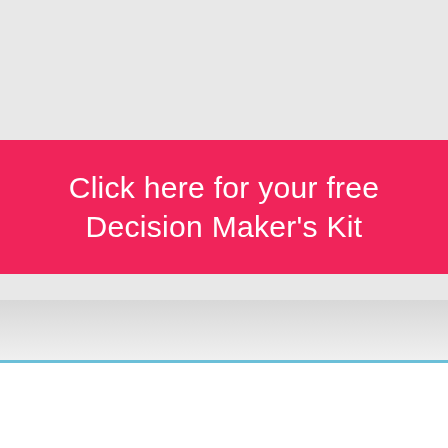[Figure (screenshot): A pink/crimson call-to-action button on a light gray background reading 'Click here for your free Decision Maker's Kit', followed by a thin blue horizontal divider line and a white section below.]